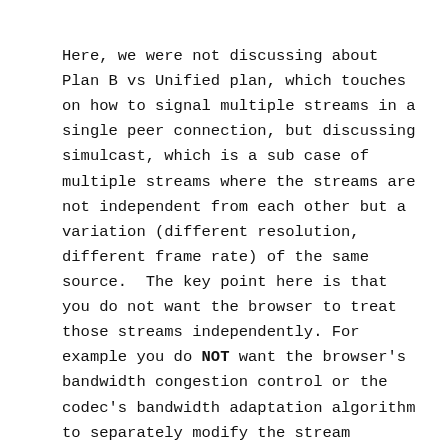Here, we were not discussing about Plan B vs Unified plan, which touches on how to signal multiple streams in a single peer connection, but discussing simulcast, which is a sub case of multiple streams where the streams are not independent from each other but a variation (different resolution, different frame rate) of the same source.  The key point here is that you do not want the browser to treat those streams independently. For example you do NOT want the browser's bandwidth congestion control or the codec's bandwidth adaptation algorithm to separately modify the stream resolution. You want the highest resolution to be fully dropped to accommodate bandwidth first, or e.g. the video to be switched off while the audio remains. This is to